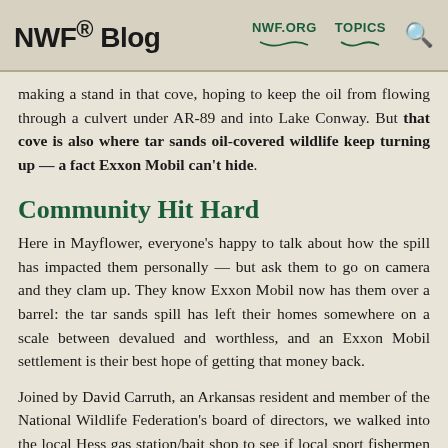NWF® Blog  NWF.ORG  TOPICS
making a stand in that cove, hoping to keep the oil from flowing through a culvert under AR-89 and into Lake Conway. But that cove is also where tar sands oil-covered wildlife keep turning up — a fact Exxon Mobil can't hide.
Community Hit Hard
Here in Mayflower, everyone's happy to talk about how the spill has impacted them personally — but ask them to go on camera and they clam up. They know Exxon Mobil now has them over a barrel: the tar sands spill has left their homes somewhere on a scale between devalued and worthless, and an Exxon Mobil settlement is their best hope of getting that money back.
Joined by David Carruth, an Arkansas resident and member of the National Wildlife Federation's board of directors, we walked into the local Hess gas station/bait shop to see if local sport fishermen had any insight into how local wildlife was faring.